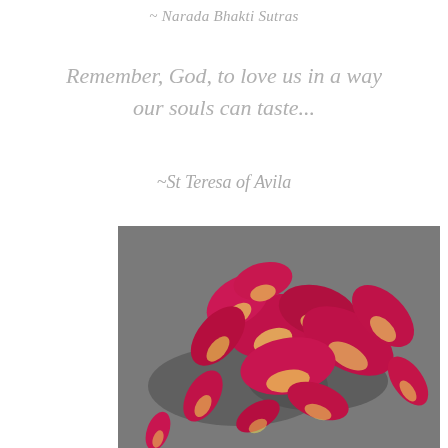~ Narada Bhakti Sutras
Remember, God, to love us in a way our souls can taste...
~St Teresa of Avila
[Figure (photo): A cluster of deep magenta/crimson rose petals with yellow-white bases scattered on a grey surface, photographed from above at an angle with dramatic shadows.]